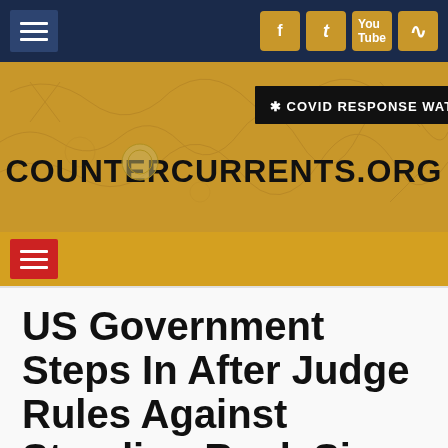countercurrents.org
[Figure (screenshot): Website header with navigation bar, social media icons (Facebook, Twitter, YouTube, RSS), COVID Response Watch banner, and countercurrents.org site logo on golden background with sketch art overlay]
US Government Steps In After Judge Rules Against Standing Rock Sioux